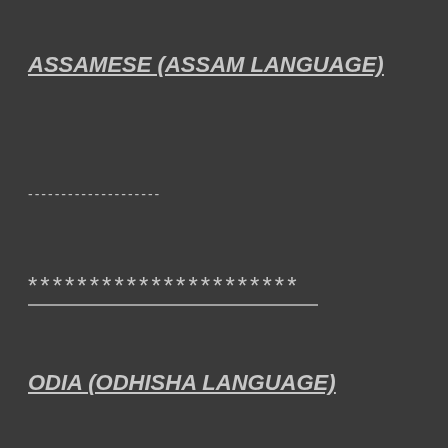ASSAMESE (ASSAM LANGUAGE)
--------------------
**********************
ODIA (ODHISHA LANGUAGE)